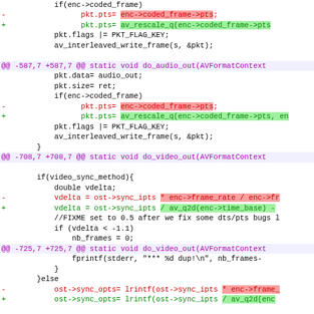if(enc->coded_frame)
-                 pkt.pts= enc->coded_frame->pts;
+                 pkt.pts= av_rescale_q(enc->coded_frame->pts
pkt.flags |= PKT_FLAG_KEY;
av_interleaved_write_frame(s, &pkt);
@@ -587,7 +587,7 @@ static void do_audio_out(AVFormatContext
pkt.data= audio_out;
pkt.size= ret;
if(enc->coded_frame)
-                 pkt.pts= enc->coded_frame->pts;
+                 pkt.pts= av_rescale_q(enc->coded_frame->pts, en
pkt.flags |= PKT_FLAG_KEY;
av_interleaved_write_frame(s, &pkt);
}
@@ -708,7 +708,7 @@ static void do_video_out(AVFormatContext
if(video_sync_method){
double vdelta;
-           vdelta = ost->sync_ipts * enc->frame_rate / enc->fr
+           vdelta = ost->sync_ipts / av_q2d(enc->time_base) -
//FIXME set to 0.5 after we fix some dts/pts bugs l
if (vdelta < -1.1)
nb_frames = 0;
@@ -725,7 +725,7 @@ static void do_video_out(AVFormatContext
fprintf(stderr, "*** %d dup!\n", nb_frames-
}
}else
-           ost->sync_opts= lrintf(ost->sync_ipts * enc->frame_
+           ost->sync_opts= lrintf(ost->sync_ipts / av_q2d(enc